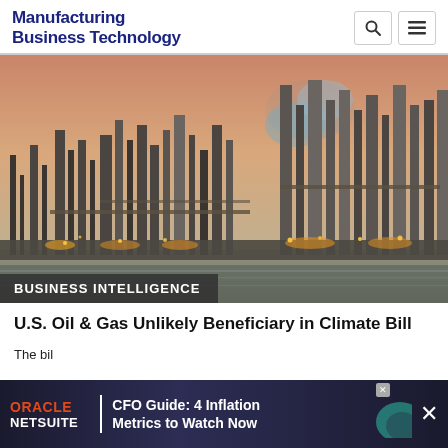Manufacturing Business Technology
[Figure (photo): Industrial oil refinery at dusk with towers, smokestacks, and blue smoke rising; warm orange sky in background]
BUSINESS INTELLIGENCE
U.S. Oil & Gas Unlikely Beneficiary in Climate Bill
The bill... guaran... of Mexico and Alaska...
[Figure (infographic): Oracle NetSuite advertisement banner: CFO Guide: 4 Inflation Metrics to Watch Now]